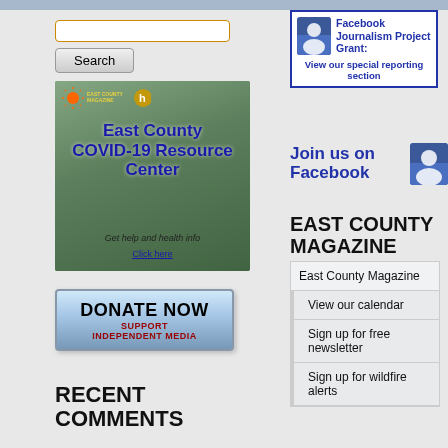[Figure (screenshot): Search input box with orange border]
Search
[Figure (illustration): East County COVID-19 Resource Center banner with mountain landscape background. Text reads: East County COVID-19 Resource Center. Get help and health info. Click here.]
[Figure (illustration): DONATE NOW button - Support Independent Media]
RECENT COMMENTS
[Figure (illustration): Facebook Journalism Project Grant box with Facebook icon. Text: View our special reporting section]
Join us on Facebook
EAST COUNTY MAGAZINE
East County Magazine
View our calendar
Sign up for free newsletter
Sign up for wildfire alerts